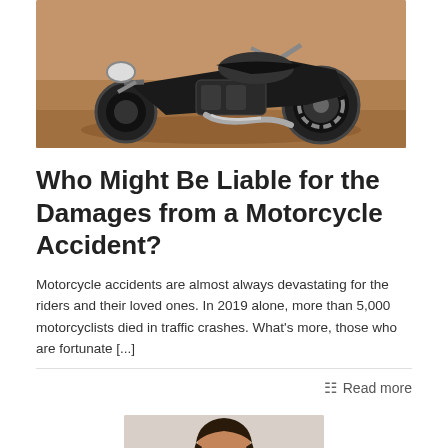[Figure (photo): A fallen motorcycle lying on its side on a sandy/dirt surface, showing the engine, chrome parts, and rear wheel with brake disc]
Who Might Be Liable for the Damages from a Motorcycle Accident?
Motorcycle accidents are almost always devastating for the riders and their loved ones. In 2019 alone, more than 5,000 motorcyclists died in traffic crashes. What's more, those who are fortunate [...]
Read more
[Figure (photo): Partial view of a person's head from below, appearing to be a man with dark hair and sunglasses]